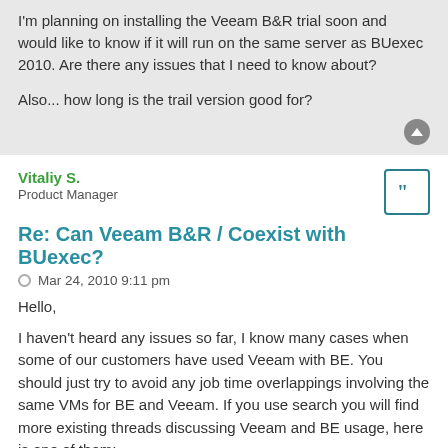I'm planning on installing the Veeam B&R trial soon and would like to know if it will run on the same server as BUexec 2010. Are there any issues that I need to know about?

Also... how long is the trail version good for?
Vitaliy S.
Product Manager
Re: Can Veeam B&R / Coexist with BUexec?
Mar 24, 2010 9:11 pm
Hello,
I haven't heard any issues so far, I know many cases when some of our customers have used Veeam with BE. You should just try to avoid any job time overlappings involving the same VMs for BE and Veeam. If you use search you will find more existing threads discussing Veeam and BE usage, here is one of them:
http://www.veeam.com/forums/viewtopic.p ... ackup+exec
As for the trial version, it is good for 30 days, you will get the